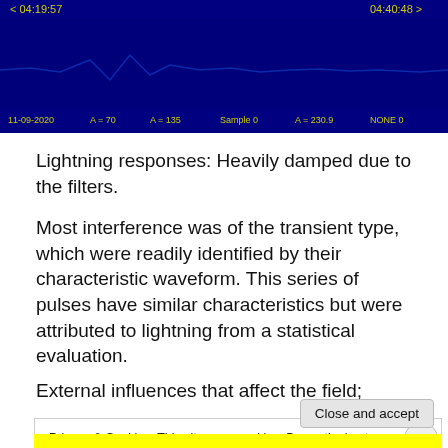[Figure (screenshot): Screenshot of a waveform/signal display interface with dark blue background. Shows timestamps '< 04:19:57' on left and '04:40:48 >' on right in yellow text at top. Bottom row shows yellow text: '11-09-2020', 'A = 70', 'A = 135', 'Sample 0', 'A = 230.9', 'NONE 0'.]
Lightning responses: Heavily damped due to the filters.
Most interference was of the transient type, which were readily identified by their characteristic waveform. This series of pulses have similar characteristics but were attributed to lightning from a statistical evaluation.
External influences that affect the field;
Privacy & Cookies: This site uses cookies. By continuing to use this website, you agree to their use.
To find out more, including how to control cookies, see here: Cookie Policy